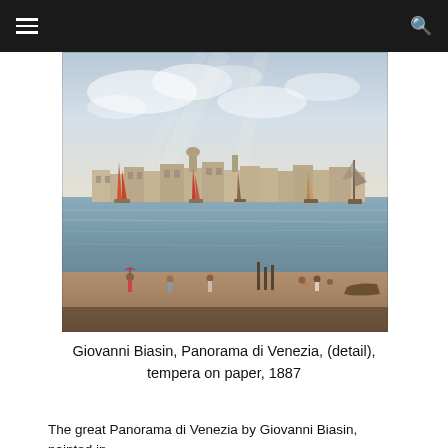Navigation header with hamburger menu and search icon
[Figure (photo): A photograph of a painting: Giovanni Biasin, Panorama di Venezia, (detail), tempera on paper, 1887. The painting shows a panoramic view of Venice with sailboats on the lagoon, Venetian buildings along the waterfront, and figures on the shore in the foreground.]
Giovanni Biasin, Panorama di Venezia, (detail), tempera on paper, 1887
The great Panorama di Venezia by Giovanni Biasin, painted in